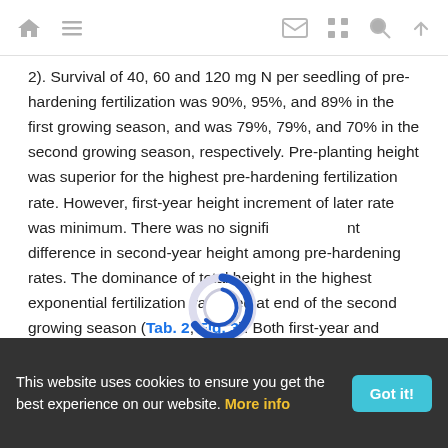[navigation icons: home, menu, mail, grid, search, up]
2). Survival of 40, 60 and 120 mg N per seedling of pre-hardening fertilization was 90%, 95%, and 89% in the first growing season, and was 79%, 79%, and 70% in the second growing season, respectively. Pre-planting height was superior for the highest pre-hardening fertilization rate. However, first-year height increment of later rate was minimum. There was no significant difference in second-year height among pre-hardening rates. The dominance of total height in the highest exponential fertilization vanished at end of the second growing season (Tab. 2, Fig. 3). Both first-year and second-year diameter increments were superior in the 40 mg N per seedling of pre-hardening fertilization treatment, with the greatest diameter occurring in the lowest pre-
[Figure (other): Circular loading spinner icon, blue with white center, overlaid on text]
This website uses cookies to ensure you get the best experience on our website. More info | Got it!